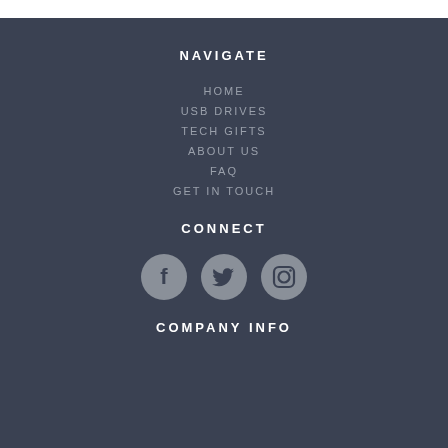NAVIGATE
HOME
USB DRIVES
TECH GIFTS
ABOUT US
FAQ
GET IN TOUCH
CONNECT
[Figure (infographic): Three circular social media icons: Facebook (f), Twitter (bird), Instagram (camera)]
COMPANY INFO